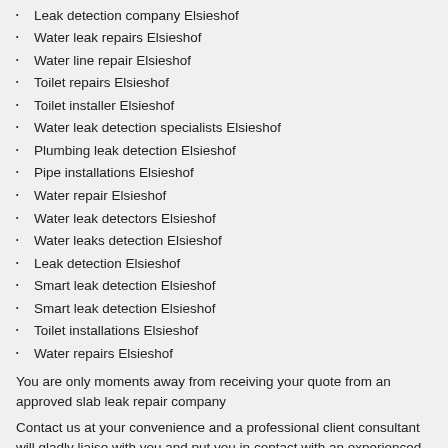Leak detection company Elsieshof
Water leak repairs Elsieshof
Water line repair Elsieshof
Toilet repairs Elsieshof
Toilet installer Elsieshof
Water leak detection specialists Elsieshof
Plumbing leak detection Elsieshof
Pipe installations Elsieshof
Water repair Elsieshof
Water leak detectors Elsieshof
Water leaks detection Elsieshof
Leak detection Elsieshof
Smart leak detection Elsieshof
Smart leak detection Elsieshof
Toilet installations Elsieshof
Water repairs Elsieshof
You are only moments away from receiving your quote from an approved slab leak repair company
Contact us at your convenience and a professional client consultant will gladly liaise with you and put you in contact with an experienced slab leak repair contractor
We are the best Smart leak detection company in Elsieshof so give us a call at: 010 109 3732 today!
Building construction companies in Elsieshof >>